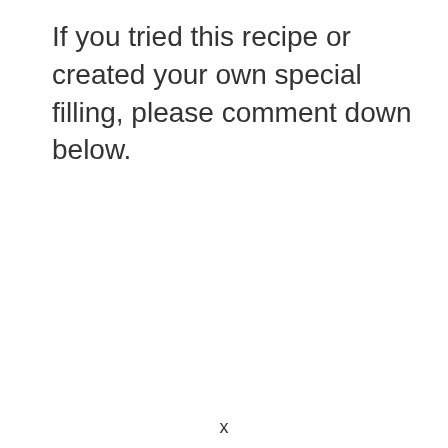If you tried this recipe or created your own special filling, please comment down below.
x